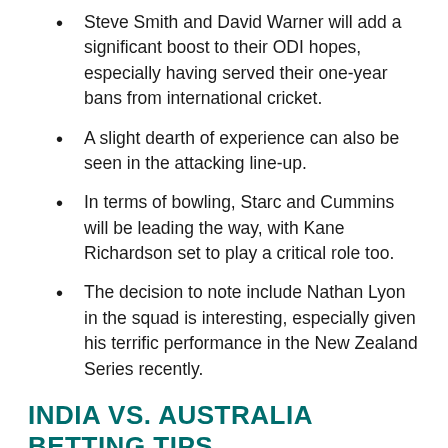Steve Smith and David Warner will add a significant boost to their ODI hopes, especially having served their one-year bans from international cricket.
A slight dearth of experience can also be seen in the attacking line-up.
In terms of bowling, Starc and Cummins will be leading the way, with Kane Richardson set to play a critical role too.
The decision to note include Nathan Lyon in the squad is interesting, especially given his terrific performance in the New Zealand Series recently.
INDIA VS. AUSTRALIA BETTING TIPS
T going to be a massive tournament for the two t but more so for the Aussies. They will be eager to redeem themselves and take back the crown they